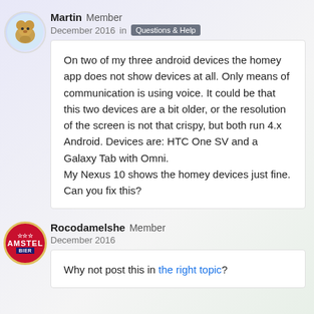Martin Member
December 2016  in  Questions & Help
On two of my three android devices the homey app does not show devices at all. Only means of communication is using voice. It could be that this two devices are a bit older, or the resolution of the screen is not that crispy, but both run 4.x Android. Devices are: HTC One SV and a Galaxy Tab with Omni.
My Nexus 10 shows the homey devices just fine.
Can you fix this?
Rocodamelshe Member
December 2016
Why not post this in the right topic?